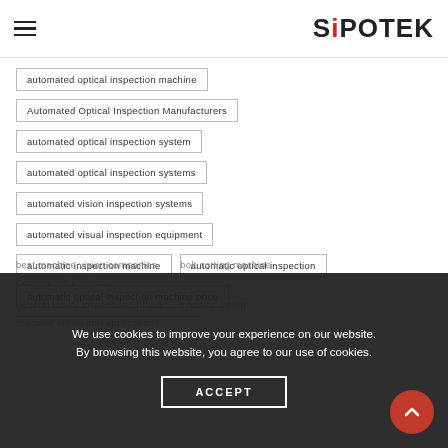SiPOTEK (logo) with hamburger menu
automated optical inspection machine
Automated Optical Inspection Manufacturers
automated optical inspection system
automated optical inspection systems
automated vision inspection systems
automated visual inspection equipment
automatic inspection machine
automatic optical inspection
automatic optical inspection machine price
automatic visual inspection machine
We use cookies to improve your experience on our website. By browsing this website, you agree to our use of cookies.
ACCEPT